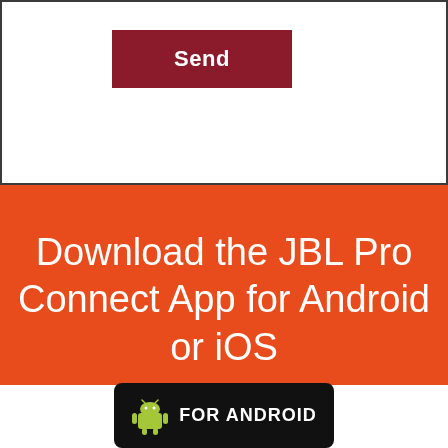[Figure (screenshot): Dark red Send button on white background, part of a form UI]
Download the JBL Pro Connect App for Android or iOS
[Figure (logo): FOR ANDROID badge with Android robot icon on black rounded rectangle background]